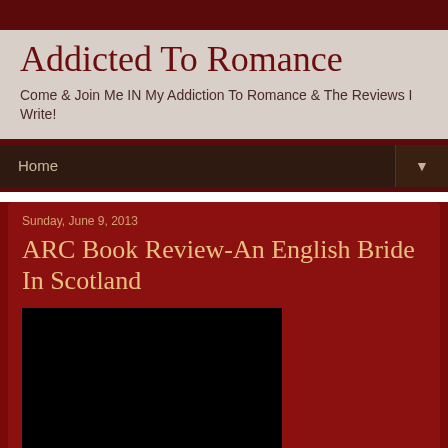Addicted To Romance
Come & Join Me IN My Addiction To Romance & The Reviews I Write!
Home
Sunday, June 9, 2013
ARC Book Review-An English Bride In Scotland
[Figure (photo): Book cover image, black rectangle placeholder]